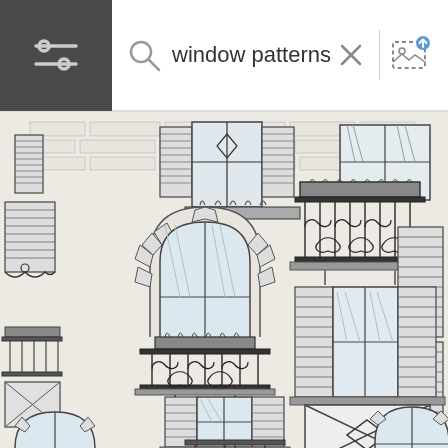[Figure (screenshot): Mobile image search interface showing a search bar at the top with 'window patterns' query text, a hamburger/filter menu icon on the left in dark background, a search magnifier icon, an X clear button, and an image upload button. Below the search bar is a detailed architectural illustration showing European-style building facades with various ornate windows, iron balcony railings, decorative shutters, arched windows with keystones, flower boxes, and brick/stone wall textures in a seamless repeating pattern. The illustration is in black and white line-art style.]